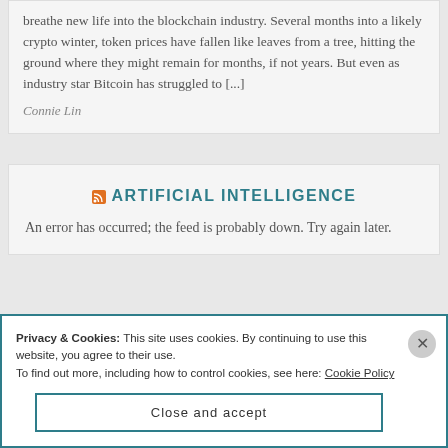breathe new life into the blockchain industry. Several months into a likely crypto winter, token prices have fallen like leaves from a tree, hitting the ground where they might remain for months, if not years. But even as industry star Bitcoin has struggled to [...]
Connie Lin
ARTIFICIAL INTELLIGENCE
An error has occurred; the feed is probably down. Try again later.
Privacy & Cookies: This site uses cookies. By continuing to use this website, you agree to their use.
To find out more, including how to control cookies, see here: Cookie Policy